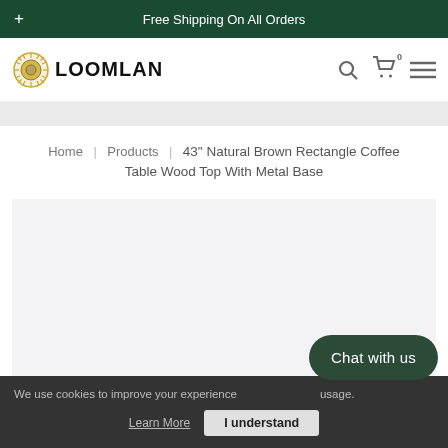Free Shipping On All Orders
[Figure (logo): LOOMLAN logo with gear/sun icon and bold text]
Home | Products | 43" Natural Brown Rectangle Coffee Table Wood Top With Metal Base
[Figure (photo): Product image area - light gray placeholder for coffee table product photo]
Chat with us
We use cookies to improve your experience usage.
Learn More
I understand